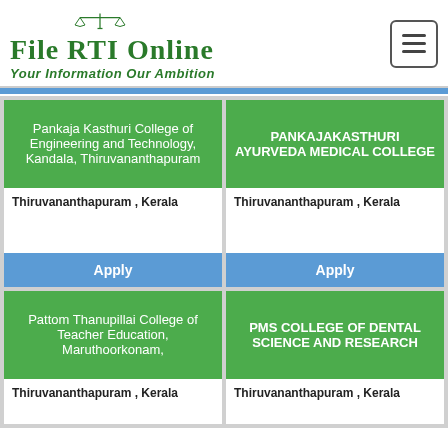[Figure (logo): File RTI Online logo with scales of justice icon, green text reading 'File RTI Online' and subtitle 'Your Information Our Ambition']
Pankaja Kasthuri College of Engineering and Technology, Kandala, Thiruvananthapuram
PANKAJAKASTHURI AYURVEDA MEDICAL COLLEGE
Thiruvananthapuram , Kerala
Thiruvananthapuram , Kerala
Apply
Apply
Pattom Thanupillai College of Teacher Education, Maruthoorkonam,
PMS COLLEGE OF DENTAL SCIENCE AND RESEARCH
Thiruvananthapuram , Kerala
Thiruvananthapuram , Kerala